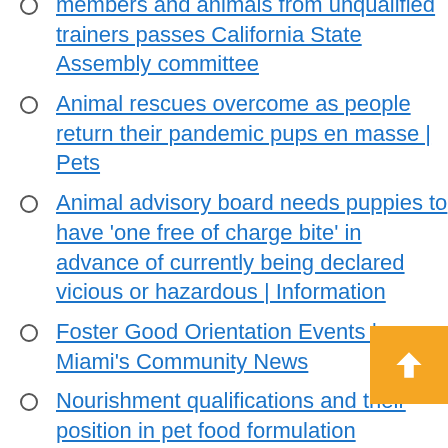members and animals from unqualified trainers passes California State Assembly committee
Animal rescues overcome as people return their pandemic pups en masse | Pets
Animal advisory board needs puppies to have 'one free of charge bite' in advance of currently being declared vicious or hazardous | Information
Foster Good Orientation Events | Miami's Community News
Nourishment qualifications and their position in pet food formulation
Animals of the week: Tucker and Petey -